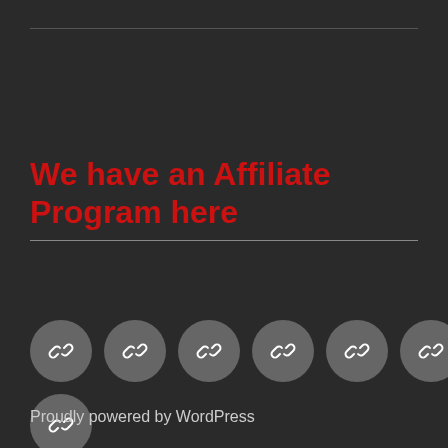We have an Affiliate Program here
[Figure (illustration): Seven circular gray icon buttons arranged in two rows, each containing a chain/link icon in white]
Proudly powered by WordPress